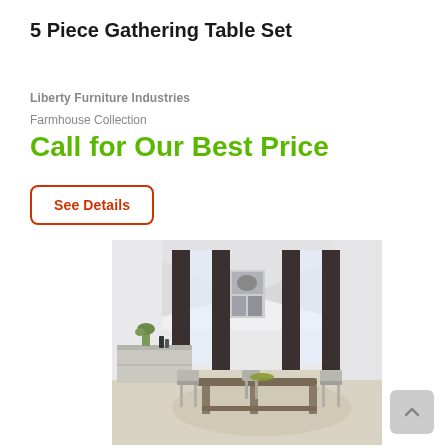5 Piece Gathering Table Set
Liberty Furniture Industries
Farmhouse Collection
Call for Our Best Price
See Details
[Figure (photo): A farmhouse-style dining room set featuring a white distressed dining table with chairs, a matching sideboard with decorative items, artwork on the wall, and large windows with dark curtains in a bright open room.]